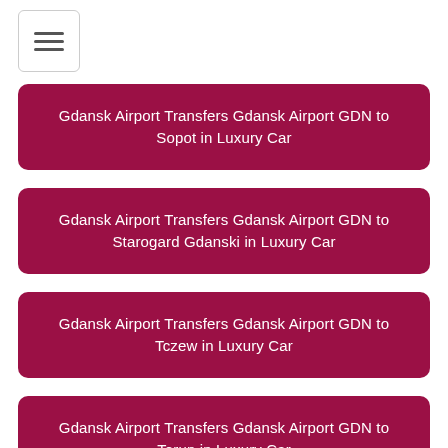[Figure (other): Hamburger menu icon button with three horizontal lines inside a rounded rectangle border]
Gdansk Airport Transfers Gdansk Airport GDN to Sopot in Luxury Car
Gdansk Airport Transfers Gdansk Airport GDN to Starogard Gdanski in Luxury Car
Gdansk Airport Transfers Gdansk Airport GDN to Tczew in Luxury Car
Gdansk Airport Transfers Gdansk Airport GDN to Torun in Luxury Car